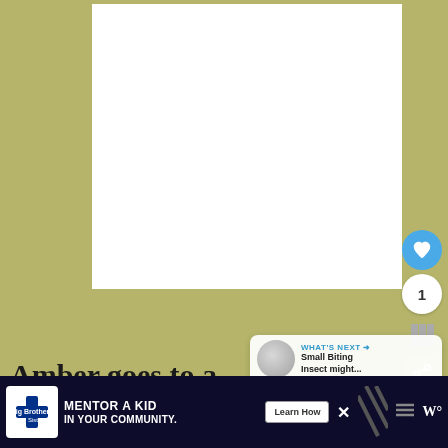[Figure (photo): White rectangular image area on an olive/yellow-green background, representing a photo placeholder or article image]
[Figure (infographic): UI overlay elements: blue heart/like button with count badge showing '1', bookmark icon, olive green share button with plus icon]
[Figure (infographic): What's Next recommendation box showing a circular grey thumbnail and text 'WHAT'S NEXT → Small Biting Insect might...']
Amber goes to a convalescent home
[Figure (infographic): Advertisement banner: Big Brothers Big Sisters of America logo, 'MENTOR A KID IN YOUR COMMUNITY.' headline, Learn How button, diagonal stripe pattern, menu and W logo icons]